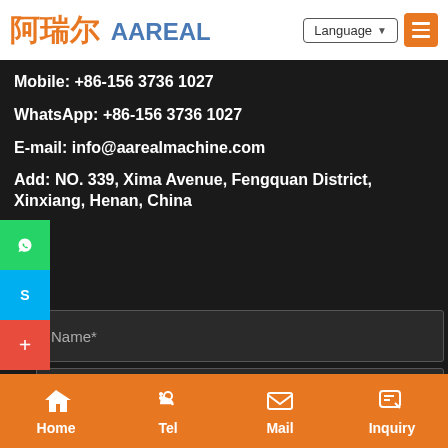阿瑞尔 AAREAL — Language menu
Mobile: +86-156 3736 1027
WhatsApp: +86-156 3736 1027
E-mail: info@aarealmachine.com
Add: NO. 339, Xima Avenue, Fengquan District, Xinxiang, Henan, China
Name*
E-mail*
Message*
Home  Tel  Mail  Inquiry